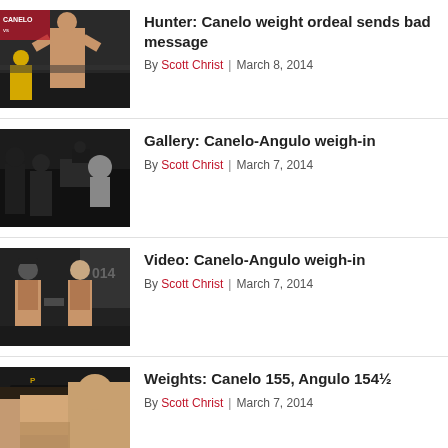[Figure (photo): Boxing weigh-in photo showing Canelo Alvarez flexing shirtless in front of a promotional banner]
Hunter: Canelo weight ordeal sends bad message
By Scott Christ | March 8, 2014
[Figure (photo): Black and white photo of boxing weigh-in with fighters and camera crew]
Gallery: Canelo-Angulo weigh-in
By Scott Christ | March 7, 2014
[Figure (photo): Two boxers facing off at weigh-in with 2014 banner in background]
Video: Canelo-Angulo weigh-in
By Scott Christ | March 7, 2014
[Figure (photo): Close-up photo of Canelo Alvarez face at weigh-in wearing a cap]
Weights: Canelo 155, Angulo 154½
By Scott Christ | March 7, 2014